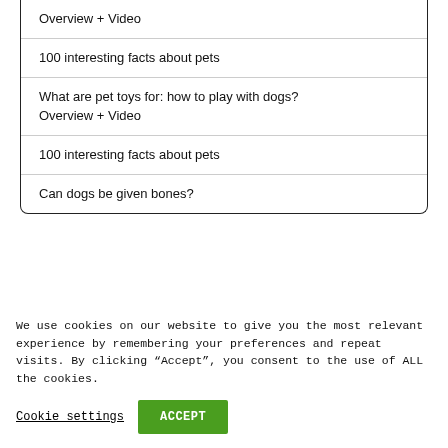Overview + Video
100 interesting facts about pets
What are pet toys for: how to play with dogs? Overview + Video
100 interesting facts about pets
Can dogs be given bones?
We use cookies on our website to give you the most relevant experience by remembering your preferences and repeat visits. By clicking “Accept”, you consent to the use of ALL the cookies.
Cookie settings
ACCEPT